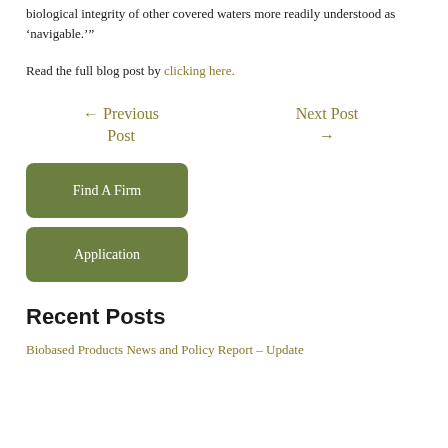biological integrity of other covered waters more readily understood as ‘navigable.’”
Read the full blog post by clicking here.
← Previous Post
Next Post →
Find A Firm
Application
Recent Posts
Biobased Products News and Policy Report – Update